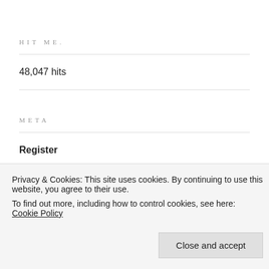HIT ME.
48,047 hits
META
Register
Log in
Privacy & Cookies: This site uses cookies. By continuing to use this website, you agree to their use.
To find out more, including how to control cookies, see here: Cookie Policy
Close and accept